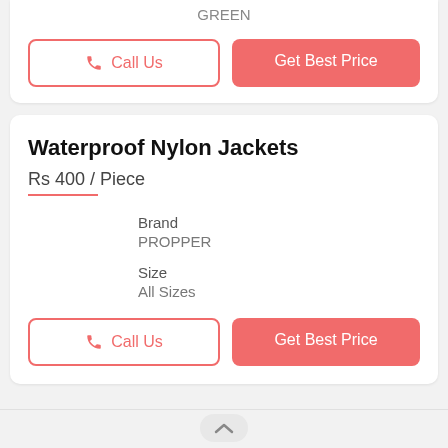GREEN
Call Us
Get Best Price
Waterproof Nylon Jackets
Rs 400 / Piece
Brand
PROPPER
Size
All Sizes
Call Us
Get Best Price